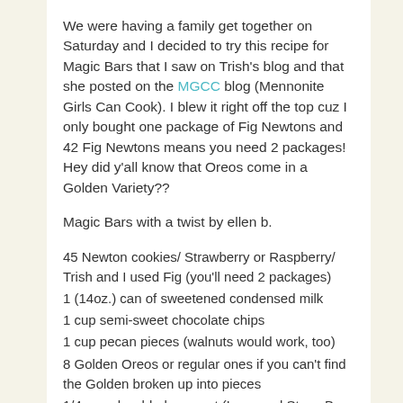We were having a family get together on Saturday and I decided to try this recipe for Magic Bars that I saw on Trish's blog and that she posted on the MGCC blog (Mennonite Girls Can Cook). I blew it right off the top cuz I only bought one package of Fig Newtons and 42 Fig Newtons means you need 2 packages! Hey did y'all know that Oreos come in a Golden Variety??
Magic Bars with a twist by ellen b.
45 Newton cookies/ Strawberry or Raspberry/ Trish and I used Fig (you'll need 2 packages)
1 (14oz.) can of sweetened condensed milk
1 cup semi-sweet chocolate chips
1 cup pecan pieces (walnuts would work, too)
8 Golden Oreos or regular ones if you can't find the Golden broken up into pieces
1/4 cup shredded coconut (Lana and Steve B